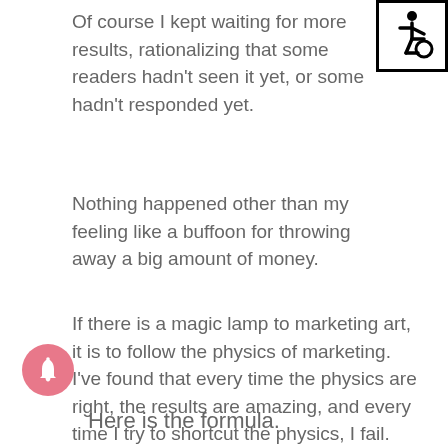Of course I kept waiting for more results, rationalizing that some readers hadn't seen it yet, or some hadn't responded yet.
[Figure (illustration): Accessibility icon — wheelchair user symbol in a black-bordered square]
Nothing happened other than my feeling like a buffoon for throwing away a big amount of money.
If there is a magic lamp to marketing art, it is to follow the physics of marketing. I've found that every time the physics are right, the results are amazing, and every time I try to shortcut the physics, I fail.
[Figure (illustration): Pink circular notification/bell icon]
Here is the formula.